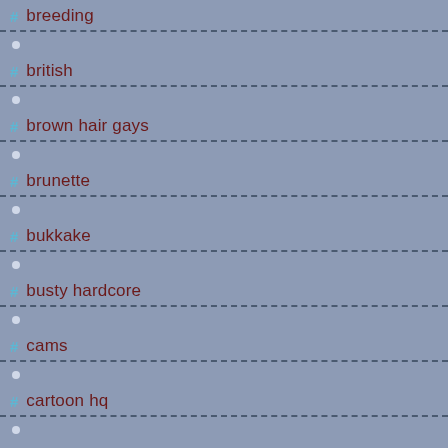breeding
british
brown hair gays
brunette
bukkake
busty hardcore
cams
cartoon hq
casting porno
caught